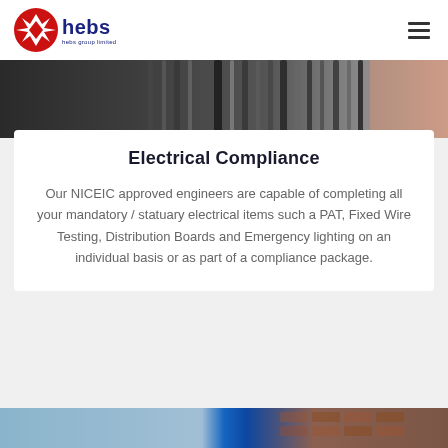hebs hebs group limited
[Figure (photo): Close-up photograph of electrical cables and wiring, partially obscured, with a dark background and a hand visible at the top right.]
Electrical Compliance
Our NICEIC approved engineers are capable of completing all your mandatory / statuary electrical items such a PAT, Fixed Wire Testing, Distribution Boards and Emergency lighting on an individual basis or as part of a compliance package.
[Figure (photo): Partial view of a building exterior with brick and blue panels, bottom of page.]